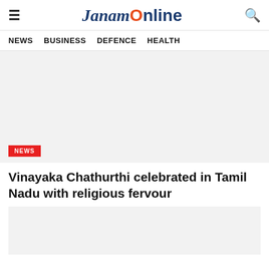JanamOnline
NEWS   BUSINESS   DEFENCE   HEALTH
[Figure (photo): Large image placeholder at top of article (light gray background)]
NEWS
Vinayaka Chathurthi celebrated in Tamil Nadu with religious fervour
[Figure (photo): Image placeholder at bottom (light gray background, partially visible)]